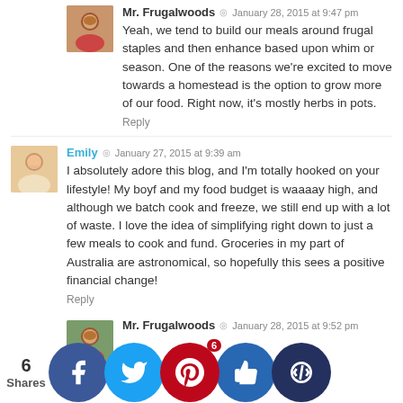Mr. Frugalwoods · January 28, 2015 at 9:47 pm
Yeah, we tend to build our meals around frugal staples and then enhance based upon whim or season. One of the reasons we're excited to move towards a homestead is the option to grow more of our food. Right now, it's mostly herbs in pots.
Reply
Emily · January 27, 2015 at 9:39 am
I absolutely adore this blog, and I'm totally hooked on your lifestyle! My boyf and my food budget is waaaay high, and although we batch cook and freeze, we still end up with a lot of waste. I love the idea of simplifying right down to just a few meals to cook and fund. Groceries in my part of Australia are astronomical, so hopefully this sees a positive financial change!
Reply
Mr. Frugalwoods · January 28, 2015 at 9:52 pm
...ing def...helped...ce our...aste. W...throw...t!
6 Shares